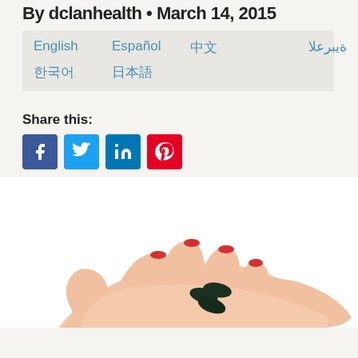By dclanhealth • March 14, 2015
| English | Español | 中文 | ةيبرعلا |
| 한국어 | 日本語 |  |  |
Share this:
[Figure (infographic): Social media share buttons: Facebook (blue), Twitter (light blue), LinkedIn (blue), Pinterest (red)]
[Figure (photo): A hand (palm up) holding three dark green/black capsule pills, with red-painted fingernails visible, on a white background]